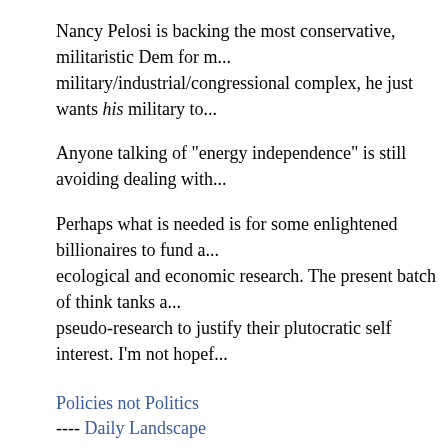Nancy Pelosi is backing the most conservative, militaristic Dem for m... military/industrial/congressional complex, he just wants his military to...
Anyone talking of "energy independence" is still avoiding dealing with...
Perhaps what is needed is for some enlightened billionaires to fund a... ecological and economic research. The present batch of think tanks a... pseudo-research to justify their plutocratic self interest. I'm not hopef...
Policies not Politics
---- Daily Landscape
by rdf (robert.feinman@gmail.com) on Tue Nov 14th, 2006 at 10:38:22 AM EST
Re: Clean Energy Future Was Part of Democrats U.S. (none / 0)
Colman posted this in this morning's European Salon:
New House Leadership, Same Mileage Standards
John Dingell, a Representative from Michigan, will, come Janu...